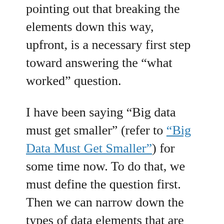pointing out that breaking the elements down this way, upfront, is a necessary first step toward answering the “what worked” question.
I have been saying “Big data must get smaller” (refer to “Big Data Must Get Smaller”) for some time now. To do that, we must define the question first. Then we can narrow down the types of data elements that are necessary to (1) define the question in a way that a machine can understand, and (2) derive answers in more comprehensive and consistent ways.
True insights, often, are not a simple summary of findings out of fancy graphical charts. In fact, knowing where to dig next is indeed a valuable insight in itself, like in mining